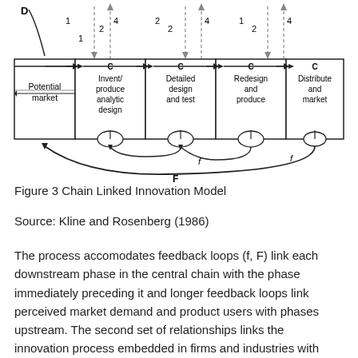[Figure (flowchart): Chain Linked Innovation Model diagram showing phases: Potential market, Invent/produce analytic design, Detailed design and test, Redesign and produce, Distribute and market. Connected by central chain arrows (C), feedback loops (f, F), and numbered knowledge links (1,2,4) from a knowledge/research base (D) above.]
Figure 3 Chain Linked Innovation Model
Source: Kline and Rosenberg (1986)
The process accomodates feedback loops (f, F) link each downstream phase in the central chain with the phase immediately preceding it and longer feedback loops link perceived market demand and product users with phases upstream. The second set of relationships links the innovation process embedded in firms and industries with the scientific and technical knowledge base and with research (K). In terms of use